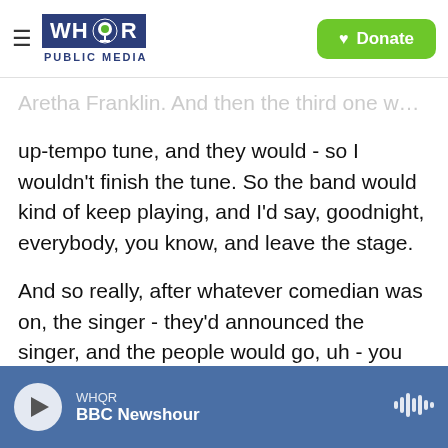WHQR PUBLIC MEDIA | Donate
up-tempo tune, and they would - so I wouldn't finish the tune. So the band would kind of keep playing, and I'd say, goodnight, everybody, you know, and leave the stage.
And so really, after whatever comedian was on, the singer - they'd announced the singer, and the people would go, uh - you could hear it. (laughter) You could heart it in the crowd. So not only weren't they my audience, but, you know, it would take a tune or two to kind of have them say, oh, all right, she can sing, you know, it's OK. And then they would go back to talking up their checks, you know
WHQR BBC Newshour